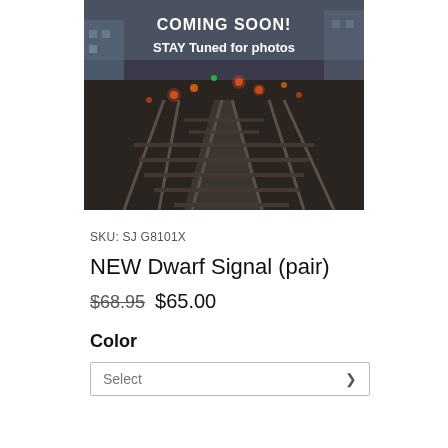[Figure (photo): Photo of railway tracks with signal lights at night/dusk, overlaid with white text reading 'COMING SOON! STAY Tuned for photos']
SKU: SJ G8101X
NEW Dwarf Signal (pair)
$68.95  $65.00
Color
Select